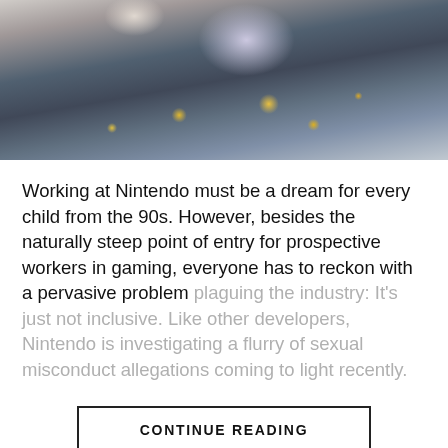[Figure (photo): Hands holding a white smartphone/tablet with a purple screen, person wearing a white bracelet on left wrist and a black smartwatch on right wrist, bokeh lights in the background on a blue surface]
Working at Nintendo must be a dream for every child from the 90s. However, besides the naturally steep point of entry for prospective workers in gaming, everyone has to reckon with a pervasive problem plaguing the industry: It’s just not inclusive. Like other developers, Nintendo is investigating a flurry of sexual misconduct allegations coming to light recently.
CONTINUE READING
ENTERPRISE